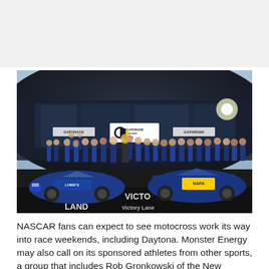[Figure (photo): NASCAR Victory Lane photo at Daytona. Two NASCAR race cars (one blue Hendrick Motorsports #48 Lowe's Chevrolet, one blue NAPA Chevrolet) parked in front of the Gatorade Victory Lane sign with a large group of team members in blue uniforms gathered between and around them. The photo is taken with a wide-angle/fisheye lens showing the curved grandstand building and Gatorade signage in the background.]
NASCAR fans can expect to see motocross work its way into race weekends, including Daytona. Monster Energy may also call on its sponsored athletes from other sports, a group that includes Rob Gronkowski of the New England Patriots, to host events this season.